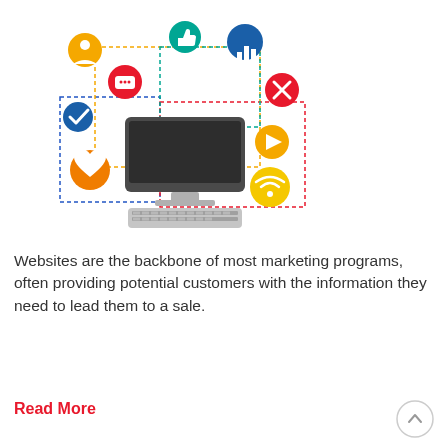[Figure (infographic): Digital marketing infographic showing a computer monitor with keyboard surrounded by colorful social media and digital icons (user, thumbs up, bar chart, X button, play button, wifi, heart, checkmark, chat bubbles) connected by dotted lines in red, yellow, blue, and teal.]
Websites are the backbone of most marketing programs, often providing potential customers with the information they need to lead them to a sale.
Read More